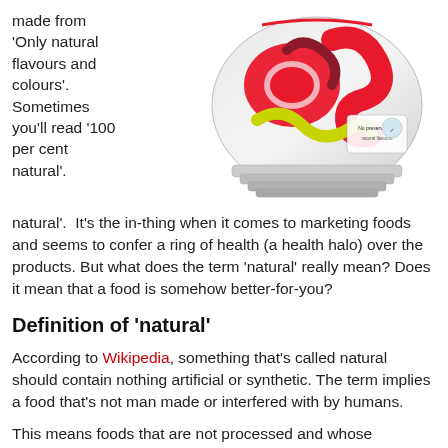made from 'Only natural flavours and colours'. Sometimes you'll read '100 per cent natural'.
[Figure (photo): A package of colorful gummy candy (red rings and worm-shaped pieces) in a clear/white bag with a logo.]
It's the in-thing when it comes to marketing foods and seems to confer a ring of health (a health halo) over the products. But what does the term 'natural' really mean? Does it mean that a food is somehow better-for-you?
Definition of 'natural'
According to Wikipedia, something that's called natural should contain nothing artificial or synthetic. The term implies a food that's not man made or interfered with by humans.
This means foods that are not processed and whose